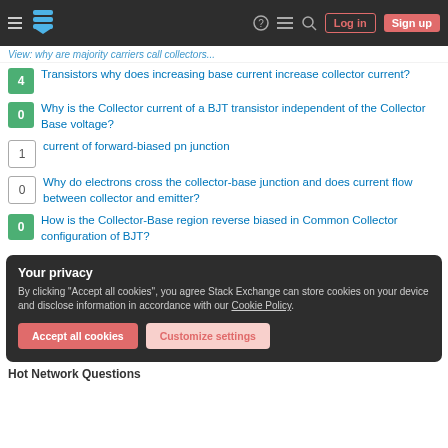Stack Exchange navigation bar with Log in and Sign up buttons
View: why are majority carriers call collectors...
4 — Transistors why does increasing base current increase collector current?
0 — Why is the Collector current of a BJT transistor independent of the Collector Base voltage?
1 — current of forward-biased pn junction
0 — Why do electrons cross the collector-base junction and does current flow between collector and emitter?
0 — How is the Collector-Base region reverse biased in Common Collector configuration of BJT?
Your privacy
By clicking "Accept all cookies", you agree Stack Exchange can store cookies on your device and disclose information in accordance with our Cookie Policy.
Accept all cookies   Customize settings
Hot Network Questions